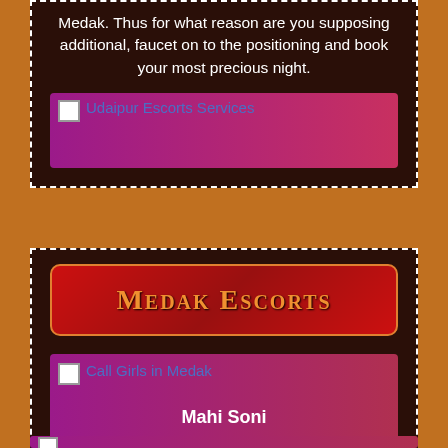Medak. Thus for what reason are you supposing additional, faucet on to the positioning and book your most precious night.
[Figure (photo): Udaipur Escorts Services image placeholder with purple-to-red gradient background]
MEDAK ESCORTS
[Figure (photo): Call Girls in Medak image placeholder with purple-to-red gradient background]
Mahi Soni